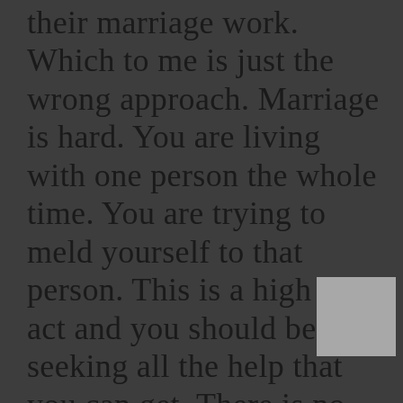their marriage work. Which to me is just the wrong approach. Marriage is hard. You are living with one person the whole time. You are trying to meld yourself to that person. This is a high wire act and you should be seeking all the help that you can get. There is no shame in that. – Belinda Luscombe 56:06